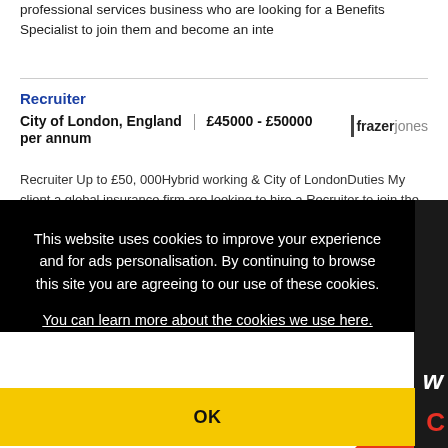professional services business who are looking for a Benefits Specialist to join them and become an inte
Recruiter
City of London, England | £45000 - £50000 per annum
Recruiter Up to £50, 000Hybrid working & City of LondonDuties My client a global insurance firm are looking to hire a Recruiter to join the team on a
This website uses cookies to improve your experience and for ads personalisation. By continuing to browse this site you are agreeing to our use of these cookies.
You can learn more about the cookies we use here.
OK